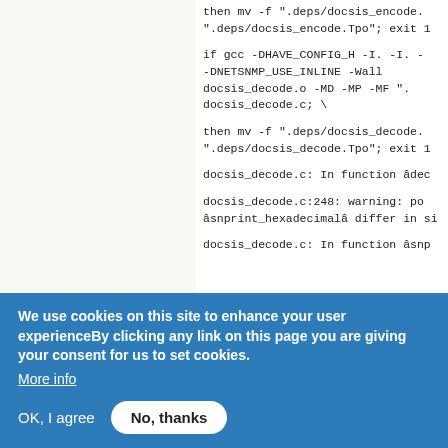then mv -f ".deps/docsis_encode.".deps/docsis_encode.Tpo"; exit 1

if gcc -DHAVE_CONFIG_H -I. -I. -
-DNETSNMP_USE_INLINE -Wal
docsis_decode.o -MD -MP -MF ".
docsis_decode.c; \

then mv -f ".deps/docsis_decode.".deps/docsis_decode.Tpo"; exit 1

docsis_decode.c: In function âdec

docsis_decode.c:248: warning: po
âsnprint_hexadecimalâ differ in si

docsis_decode.c: In function âsnp
We use cookies on this site to enhance your user experienceBy clicking any link on this page you are giving your consent for us to set cookies.
More info
OK, I agree
No, thanks